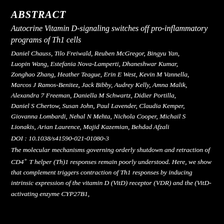ABSTRACT
Autocrine Vitamin D-signaling switches off pro-inflammatory programs of Th1 cells
Daniel Chauss, Tilo Freiwald, Reuben McGregor, Bingyu Yan, Luopin Wang, Estefania Nova-Lamperti, Dhaneshwar Kumar, Zonghao Zhang, Heather Teague, Erin E West, Kevin M Vannella, Marcos J Ramos-Benitez, Jack Bibby, Audrey Kelly, Amna Malik, Alexandra 7 Freeman, Daniella M Schwartz, Didier Portilla, Daniel S Chertow, Susan John, Paul Lavender, Claudia Kemper, Giovanna Lombardi, Nehal N Mehta, Nichola Cooper, Michail S Lionakis, Arian Laurence, Majid Kazemian, Behdad Afzali
DOI : 10.1038/s41590-021-01080-3
The molecular mechanisms governing orderly shutdown and retraction of CD4+ T helper (Th)1 responses remain poorly understood. Here, we show that complement triggers contraction of Th1 responses by inducing intrinsic expression of the vitamin D (VitD) receptor (VDR) and the (VitD-activating enzyme CYP27B1,